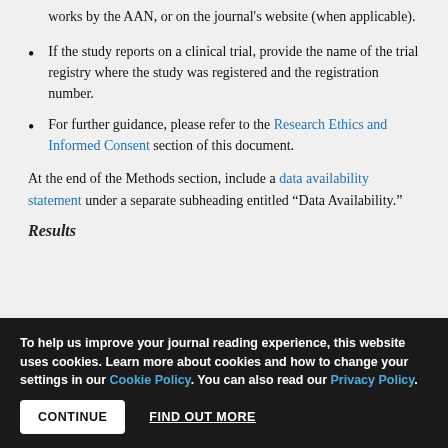works by the AAN, or on the journal's website (when applicable).
If the study reports on a clinical trial, provide the name of the trial registry where the study was registered and the registration number.
For further guidance, please refer to the Research Ethics and Informed Consent section of this document.
At the end of the Methods section, include a data availability statement under a separate subheading entitled “Data Availability.”
Results
To help us improve your journal reading experience, this website uses cookies. Learn more about cookies and how to change your settings in our Cookie Policy. You can also read our Privacy Policy.
CONTINUE   FIND OUT MORE